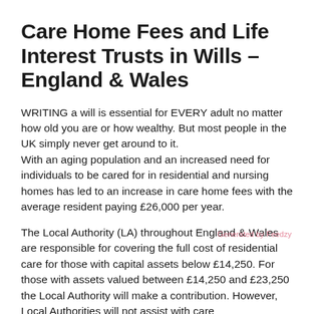Care Home Fees and Life Interest Trusts in Wills – England & Wales
WRITING a will is essential for EVERY adult no matter how old you are or how wealthy. But most people in the UK simply never get around to it.
With an aging population and an increased need for individuals to be cared for in residential and nursing homes has led to an increase in care home fees with the average resident paying £26,000 per year.
The Local Authority (LA) throughout England & Wales are responsible for covering the full cost of residential care for those with capital assets below £14,250. For those with assets valued between £14,250 and £23,250 the Local Authority will make a contribution. However, Local Authorities will not assist with care